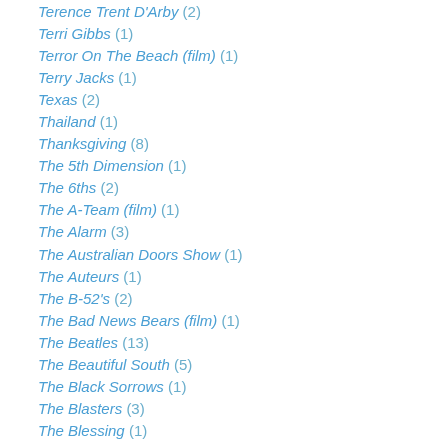Terence Trent D'Arby (2)
Terri Gibbs (1)
Terror On The Beach (film) (1)
Terry Jacks (1)
Texas (2)
Thailand (1)
Thanksgiving (8)
The 5th Dimension (1)
The 6ths (2)
The A-Team (film) (1)
The Alarm (3)
The Australian Doors Show (1)
The Auteurs (1)
The B-52's (2)
The Bad News Bears (film) (1)
The Beatles (13)
The Beautiful South (5)
The Black Sorrows (1)
The Blasters (3)
The Blessing (1)